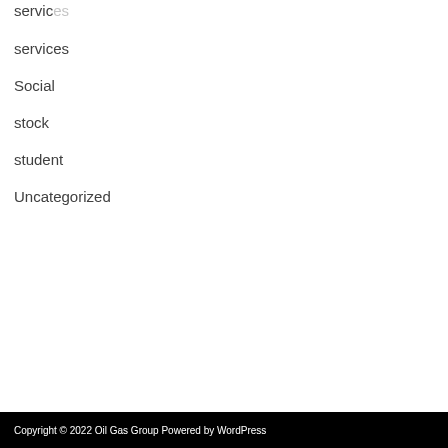services
Social
stock
student
Uncategorized
Copyright © 2022 Oil Gas Group Powered by WordPress